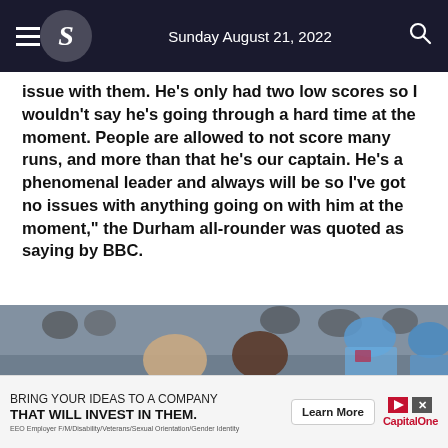Sunday August 21, 2022
issue with them. He's only had two low scores so I wouldn't say he's going through a hard time at the moment. People are allowed to not score many runs, and more than that he's our captain. He's a phenomenal leader and always will be so I've got no issues with anything going on with him at the moment," the Durham all-rounder was quoted as saying by BBC.
[Figure (photo): Cricket players including England team members in blue caps in a crowd setting]
BRING YOUR IDEAS TO A COMPANY THAT WILL INVEST IN THEM. EEO Employer F/M/Disability/Veterans/Sexual Orientation/Gender Identity